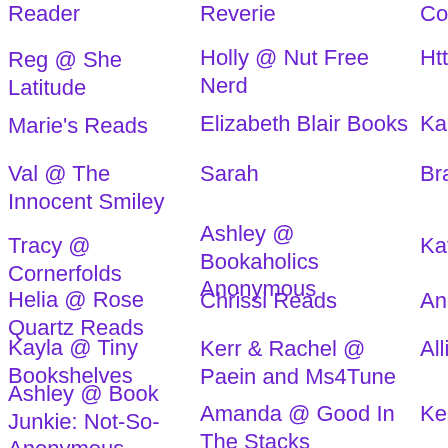Reader
Reg @ She Latitude
Marie's Reads
Val @ The Innocent Smiley
Tracy @ Cornerfolds
Helia @ Rose Quartz Reads
Kayla @ Tiny Bookshelves
Ashley @ Book Junkie: Not-So-Anonymous
Andi @ Andi's ABCs
Michelle @ Fab Book Reviews
Amanda
Ann and Clare @ Dual Reads
Reverie
Holly @ Nut Free Nerd
Elizabeth Blair Books
Sarah
Ashley @ Bookaholics Anonymous
Chrissi Reads
Kerr & Rachel @ Paein and Ms4Tune
Amanda @ Good In The Stacks
Alex
keeleyreads
JaneGS
Lizzie @ Big Books and Grande Lattes
Con...
Http...
Kaa...
Bran... Boo...
Katr... Boo...
Ang...
Allis...
Keri...
Eliza...
Che...
Loni... Ston...
Emz...